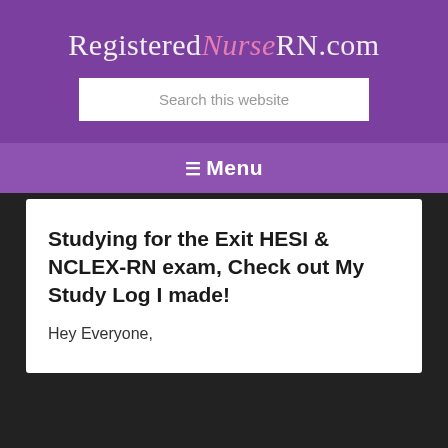RegisteredNurseRN.com
Search this website
☰ Menu
Studying for the Exit HESI & NCLEX-RN exam, Check out My Study Log I made!
Hey Everyone,